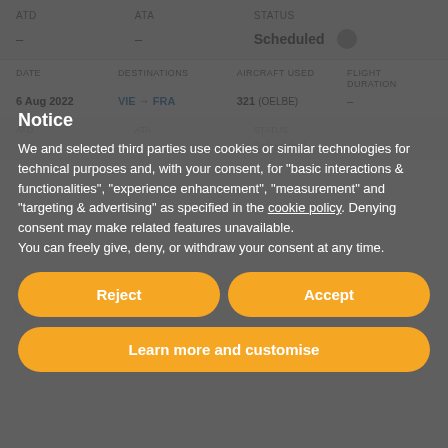| ATD | ATA | STATUS |
| --- | --- | --- |
| – | – | Scheduled |
| DATE | DESTINATIONS | AIRCRAFT USED | FLIGHT DURATION |
| --- | --- | --- | --- |
| 6 Aug 2022 | VIE → FRA | 321 (OELBE) | – |
Notice
We and selected third parties use cookies or similar technologies for technical purposes and, with your consent, for "basic interactions & functionalities", "experience enhancement", "measurement" and "targeting & advertising" as specified in the cookie policy. Denying consent may make related features unavailable.
You can freely give, deny, or withdraw your consent at any time.
Reject
Accept
Learn more and customise